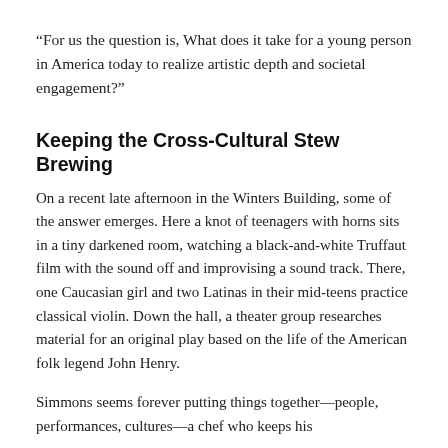“For us the question is, What does it take for a young person in America today to realize artistic depth and societal engagement?”
Keeping the Cross-Cultural Stew Brewing
On a recent late afternoon in the Winters Building, some of the answer emerges. Here a knot of teenagers with horns sits in a tiny darkened room, watching a black-and-white Truffaut film with the sound off and improvising a sound track. There, one Caucasian girl and two Latinas in their mid-teens practice classical violin. Down the hall, a theater group researches material for an original play based on the life of the American folk legend John Henry.
Simmons seems forever putting things together—people, performances, cultures—a chef who keeps his